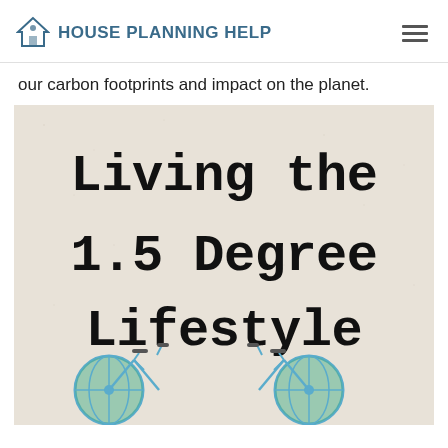House Planning Help
our carbon footprints and impact on the planet.
[Figure (illustration): Book cover for 'Living the 1.5 Degree Lifestyle' showing the title in typewriter-style font on a beige/cream textured background, with two bicycles at the bottom whose wheels are illustrated as Earth globes.]